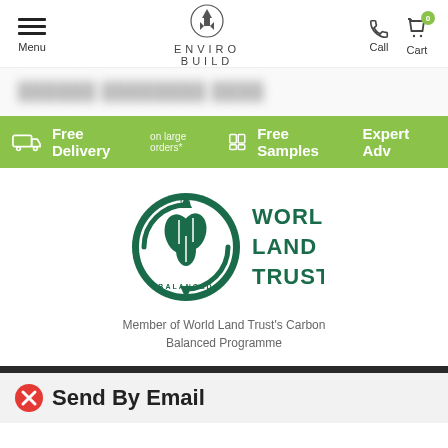Menu | ENVIRO BUILD | Call | Cart
Free Delivery on large orders* | Free Samples | Expert Adv...
[Figure (logo): World Land Trust Carbon Balanced logo — circular green emblem with leaves and arrows, text WORLD LAND TRUST™]
Member of World Land Trust's Carbon Balanced Programme
Send By Email